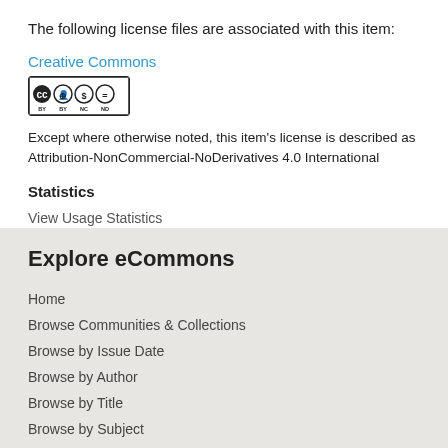The following license files are associated with this item:
Creative Commons
[Figure (logo): Creative Commons BY NC ND license badge]
Except where otherwise noted, this item's license is described as Attribution-NonCommercial-NoDerivatives 4.0 International
Statistics
View Usage Statistics
Explore eCommons
Home
Browse Communities & Collections
Browse by Issue Date
Browse by Author
Browse by Title
Browse by Subject